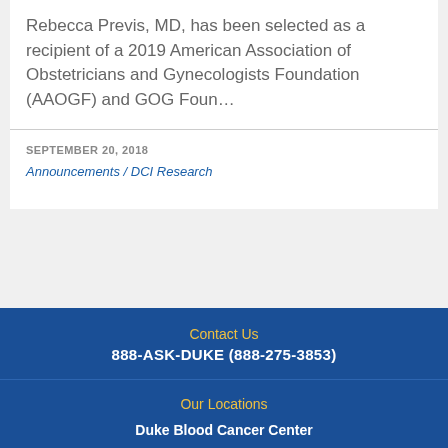Rebecca Previs, MD, has been selected as a recipient of a 2019 American Association of Obstetricians and Gynecologists Foundation (AAOGF) and GOG Foun...
SEPTEMBER 20, 2018
Announcements / DCI Research
Contact Us
888-ASK-DUKE (888-275-3853)
Our Locations
Duke Blood Cancer Center